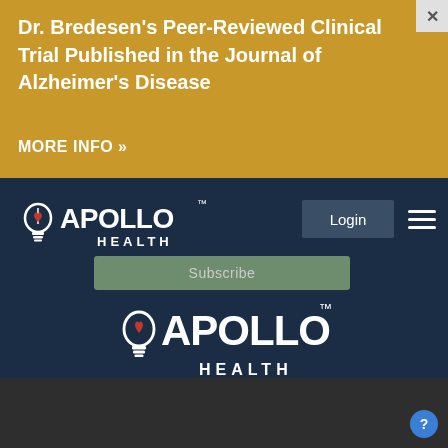Dr. Bredesen’s Peer-Reviewed Clinical Trial Published in the Journal of Alzheimer’s Disease
MORE INFO »
[Figure (logo): Apollo Health logo with lightbulb icon and TM mark, white on dark navy background]
[Figure (logo): Apollo Health logo with lightbulb icon and TM mark, white on dark charcoal background, larger version]